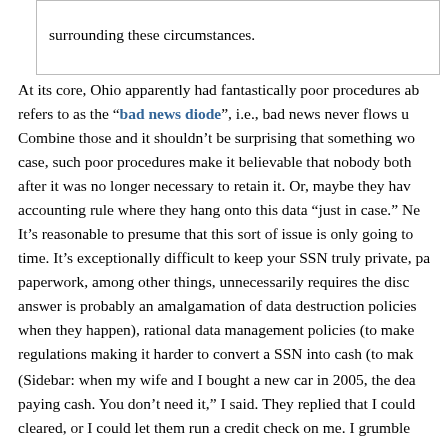surrounding these circumstances.
At its core, Ohio apparently had fantastically poor procedures about what refers to as the "bad news diode", i.e., bad news never flows u... Combine those and it shouldn't be surprising that something wo... case, such poor procedures make it believable that nobody both... after it was no longer necessary to retain it. Or, maybe they hav... accounting rule where they hang onto this data "just in case." N...
It's reasonable to presume that this sort of issue is only going to... time. It's exceptionally difficult to keep your SSN truly private, pa... paperwork, among other things, unnecessarily requires the disc... answer is probably an amalgamation of data destruction policies... when they happen), rational data management policies (to make... regulations making it harder to convert a SSN into cash (to mak...
(Sidebar: when my wife and I bought a new car in 2005, the dea... paying cash. You don't need it," I said. They replied that I could... cleared, or I could let them run a credit check on me. I grumble...